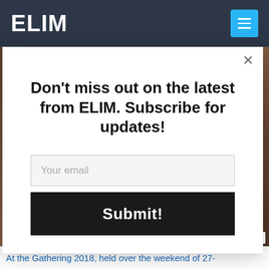ELIM
Don't miss out on the latest from ELIM. Subscribe for updates!
Your email
Submit!
AddThis
At the Gathering 2018, held over the weekend of 27-